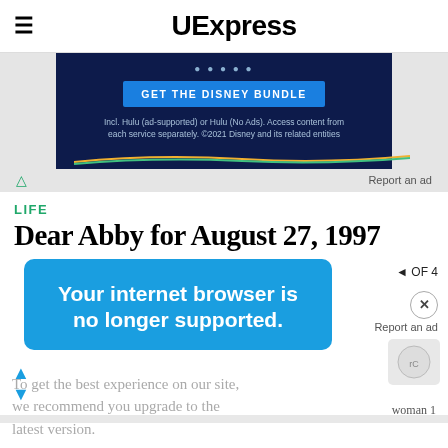UExpress
[Figure (screenshot): Disney Bundle advertisement banner with dark navy background, 'GET THE DISNEY BUNDLE' blue button, fine print text, and decorative colored lines]
Report an ad
LIFE
Dear Abby for August 27, 1997
Your internet browser is no longer supported.
To get the best experience on our site, we recommend you upgrade to the latest version.
Report an ad
woman